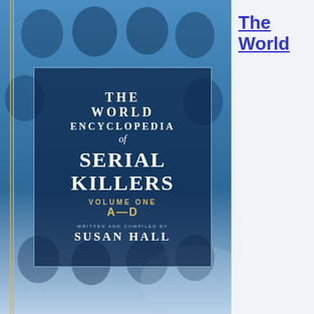[Figure (illustration): Book cover of 'The World Encyclopedia of Serial Killers, Volume One A-D' written and compiled by Susan Hall. The cover has a blue background with multiple faces visible, and a dark navy framed box in the center containing the title text in white and gold.]
The World